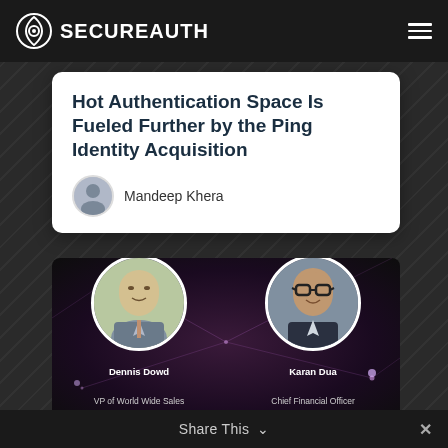SECUREAUTH
Hot Authentication Space Is Fueled Further by the Ping Identity Acquisition
Mandeep Khera
[Figure (photo): Two circular profile photos on dark purple network background. Left: Dennis Dowd, VP of World Wide Sales. Right: Karan Dua, Chief Financial Officer.]
Share This ✓ ✕